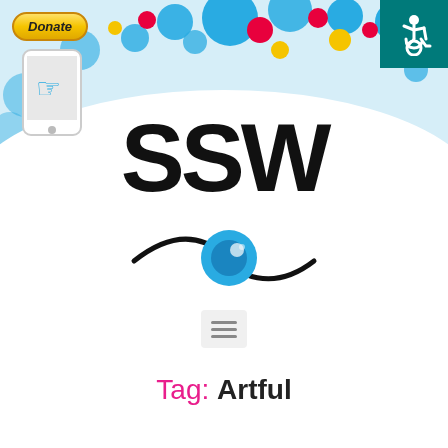[Figure (illustration): Colorful decorative header banner with blue background, multicolored circles/bubbles arranged in an arc, a mobile phone icon on the left with a hand cursor, a yellow Donate button, and a teal accessibility icon in the top-right corner.]
[Figure (logo): SSW logo: large bold black 'SSW' text above a stylized eye graphic with blue iris and black eyelid curves, followed by a hamburger menu icon below.]
Tag: Artful